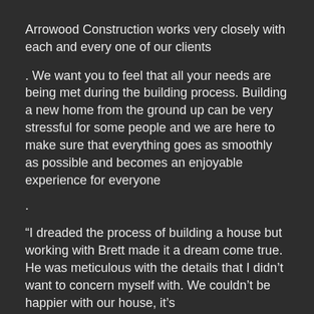Arrowood Construction works very closely with each and every one of our clients
. We want you to feel that all your needs are being met during the building process. Building a new home from the ground up can be very stressful for some people and we are here to make sure that everything goes as smoothly as possible and becomes an enjoyable experience for everyone
.
“I dreaded the process of building a house but working with Brett made it a dream come true. He was meticulous with the details that I didn’t want to concern myself with. We couldn’t be happier with our house, it’s